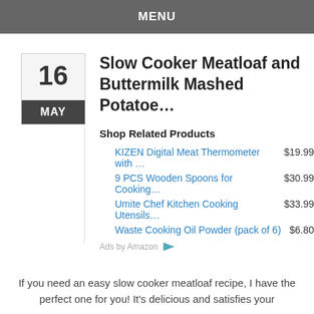MENU
Slow Cooker Meatloaf and Buttermilk Mashed Potatoe…
Shop Related Products
1. KIZEN Digital Meat Thermometer with …   $19.99
2. 9 PCS Wooden Spoons for Cooking…   $30.99
3. Umite Chef Kitchen Cooking Utensils…   $33.99
4. Waste Cooking Oil Powder (pack of 6)   $6.80
Ads by Amazon
If you need an easy slow cooker meatloaf recipe, I have the perfect one for you! It's delicious and satisfies your